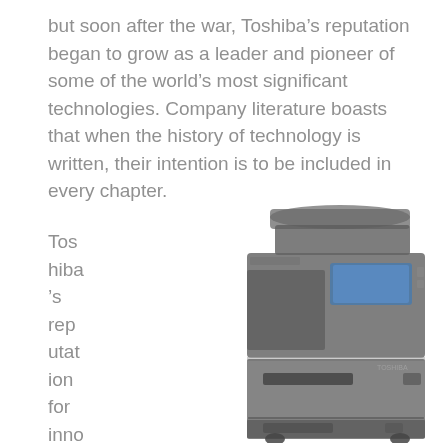but soon after the war, Toshiba's reputation began to grow as a leader and pioneer of some of the world's most significant technologies. Company literature boasts that when the history of technology is written, their intention is to be included in every chapter.
Toshiba's reputation for innovation and qual
[Figure (photo): A Toshiba multifunction printer/copier machine in dark grey/black color, showing the full unit with document feeder on top, control panel with touchscreen, and paper trays at the bottom.]